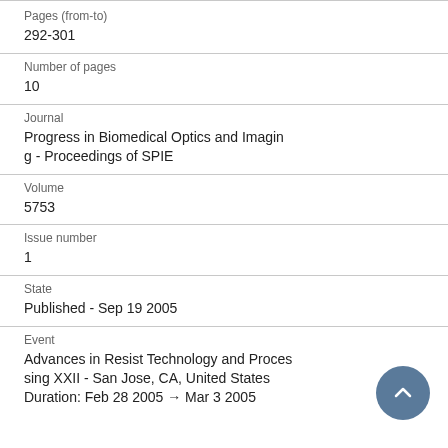Pages (from-to)
292-301
Number of pages
10
Journal
Progress in Biomedical Optics and Imaging - Proceedings of SPIE
Volume
5753
Issue number
1
State
Published - Sep 19 2005
Event
Advances in Resist Technology and Processing XXII - San Jose, CA, United States
Duration: Feb 28 2005 → Mar 3 2005